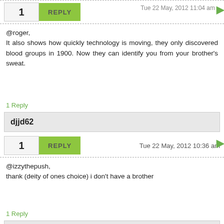@roger,
It also shows how quickly technology is moving, they only discovered blood groups in 1900. Now they can identify you from your brother's sweat.
1 Reply
djjd62
Tue 22 May, 2012 10:36 am
@izzythepush,
thank (deity of ones choice) i don't have a brother
1 Reply
izzythepush
Tue 22 May, 2012 11:08 am